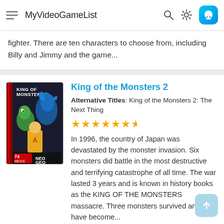MyVideoGameList
fighter. There are ten characters to choose from, including Billy and Jimmy and the game...
King of the Monsters 2
Alternative Titles: King of the Monsters 2: The Next Thing
[Figure (illustration): King of the Monsters 2 game cover art for Neo Geo, 74 Megs, showing monster characters]
In 1996, the country of Japan was devastated by the monster invasion. Six monsters did battle in the most destructive and terrifying catastrophe of all time. The war lasted 3 years and is known in history books as the KING OF THE MONSTERS massacre. Three monsters survived and have become...